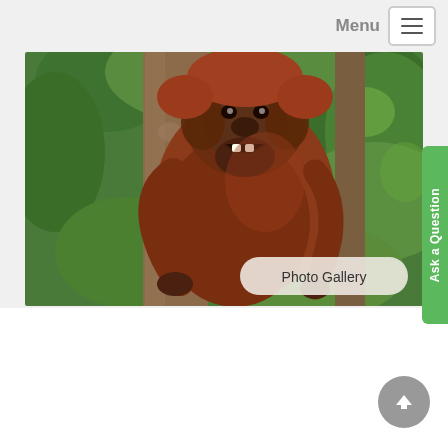Menu
[Figure (photo): An orangutan clinging to a tree trunk in a jungle/rainforest setting, mouth open, with dense green foliage in the background. A 'Photo Gallery' button is overlaid in the lower right of the image.]
| Tour Information |  |  |
| --- | --- | --- |
| Duration | : | 10 days |
| Minimum | : | 02 persons |
| Maximum | : | 08 persons |
| Price (From) | : | US$ 2095 |